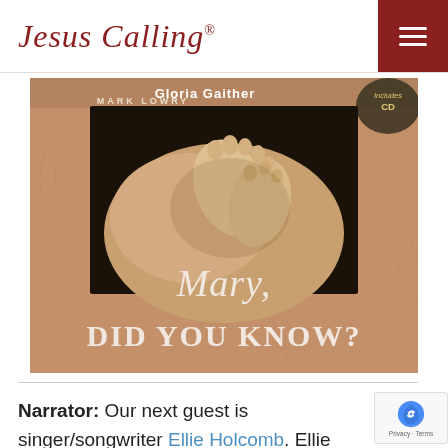Jesus Calling®
[Figure (photo): Book cover of 'Mary, Did You Know?' by Mark Lowry with Gloria Gaither. Features a close-up photograph of baby feet being held by adult hands, with the book title in decorative script and bold serif font overlaid on the image. Includes a circular badge indicating 'Includes CD'.]
Narrator: Our next guest is singer/songwriter Ellie Holcomb. Ellie began her music career by touring the